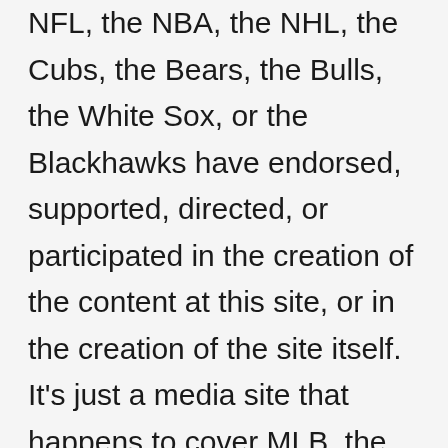NFL, the NBA, the NHL, the Cubs, the Bears, the Bulls, the White Sox, or the Blackhawks have endorsed, supported, directed, or participated in the creation of the content at this site, or in the creation of the site itself. It's just a media site that happens to cover MLB, the NFL, the NBA, the NHL, the Chicago Cubs, the Chicago Bears, the Chicago Bulls, and the Chicago Blackhawks.
Bleacher Nation is a participant in the Amazon Associates Program. As an Amazon Associate, we earn from qualifying purchases.
Bleacher Nation is supported in part by affiliate advertising programs, which you can learn more